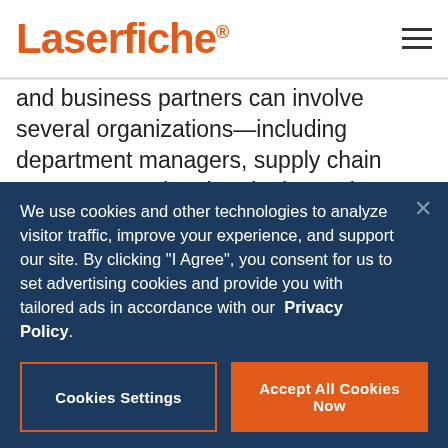Laserfiche
and business partners can involve several organizations—including department managers, supply chain management, legal and others—it’s easy to tell when a procurement process needs optimization. Information is hard to find, vendor competition is low and project success is often based on how much criticism it received. One might hear a procurement professional
We use cookies and other technologies to analyze visitor traffic, improve your experience, and support our site. By clicking “I Agree”, you consent for us to set advertising cookies and provide you with tailored ads in accordance with our Privacy Policy.
Cookies Settings
Accept All Cookies Now